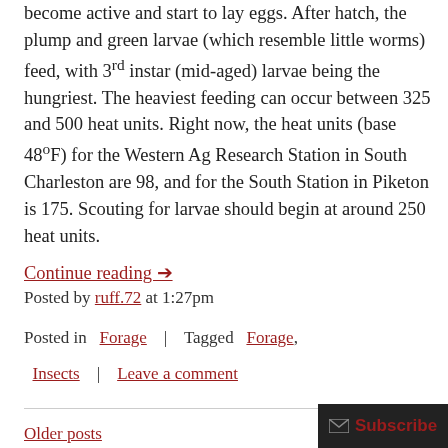become active and start to lay eggs. After hatch, the plump and green larvae (which resemble little worms) feed, with 3rd instar (mid-aged) larvae being the hungriest. The heaviest feeding can occur between 325 and 500 heat units. Right now, the heat units (base 48°F) for the Western Ag Research Station in South Charleston are 98, and for the South Station in Piketon is 175. Scouting for larvae should begin at around 250 heat units.
Continue reading →
Posted by ruff.72 at 1:27pm
Posted in  Forage  |  Tagged  Forage, Insects  |  Leave a comment